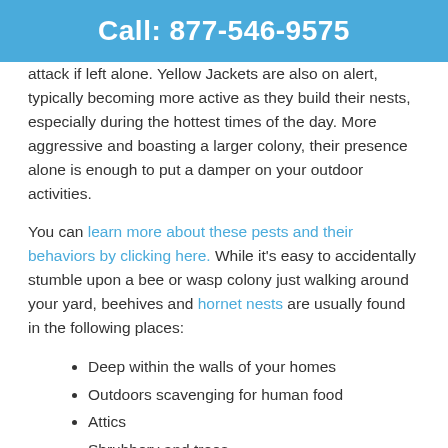Call: 877-546-9575
attack if left alone. Yellow Jackets are also on alert, typically becoming more active as they build their nests, especially during the hottest times of the day. More aggressive and boasting a larger colony, their presence alone is enough to put a damper on your outdoor activities.
You can learn more about these pests and their behaviors by clicking here. While it's easy to accidentally stumble upon a bee or wasp colony just walking around your yard, beehives and hornet nests are usually found in the following places:
Deep within the walls of your homes
Outdoors scavenging for human food
Attics
Shrubbery and trees
Stings can be quite painful for both you and a family member. It may even lead to a hospital trip if the sting triggers an allergic reaction. The risk is increased with wasps and yellow jackets, as their stings release a chemical that alerts others to